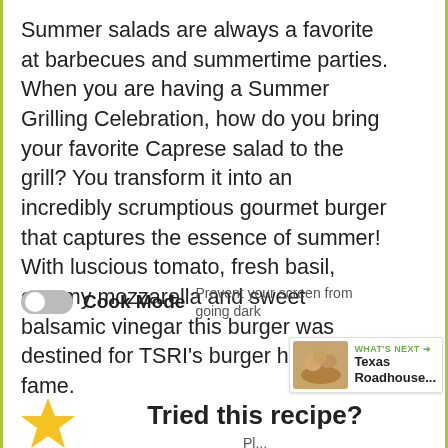Summer salads are always a favorite at barbecues and summertime parties. When you are having a Summer Grilling Celebration, how do you bring your favorite Caprese salad to the grill? You transform it into an incredibly scrumptious gourmet burger that captures the essence of summer! With luscious tomato, fresh basil, creamy mozzarella and sweet balsamic vinegar this burger was destined for TSRI's burger hall of fame.
[Figure (other): Toggle switch (Cook Mode off) with label 'Cook Mode' and description 'Prevent your screen from going dark']
[Figure (other): Heart/like button (green circle with heart icon), count of 1, and share button below]
[Figure (other): WHAT'S NEXT banner with thumbnail of bread/rolls and text 'Texas Roadhouse...']
Tried this recipe?
Pl...